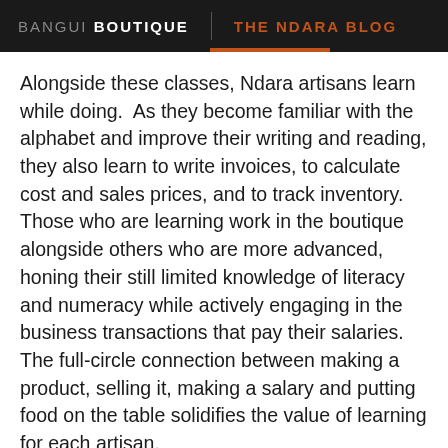BANGUI BOUTIQUE   THE NDARA BLOG
Alongside these classes, Ndara artisans learn while doing.  As they become familiar with the alphabet and improve their writing and reading, they also learn to write invoices, to calculate cost and sales prices, and to track inventory.  Those who are learning work in the boutique alongside others who are more advanced, honing their still limited knowledge of literacy and numeracy while actively engaging in the business transactions that pay their salaries. The full-circle connection between making a product, selling it, making a salary and putting food on the table solidifies the value of learning for each artisan.
“Ndara means I can take care of my family. It means I can make plans for the future, and my children can go to school. The money I earn from Ndara means that I don’t